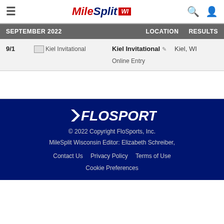MileSplit WI
| SEPTEMBER 2022 |  | LOCATION | RESULTS |
| --- | --- | --- | --- |
| 9/1 | Kiel Invitational | Kiel Invitational ✏ Online Entry | Kiel, WI |  |
FloSports © 2022 Copyright FloSports, Inc. MileSplit Wisconsin Editor: Elizabeth Schreiber, Contact Us Privacy Policy Terms of Use Cookie Preferences